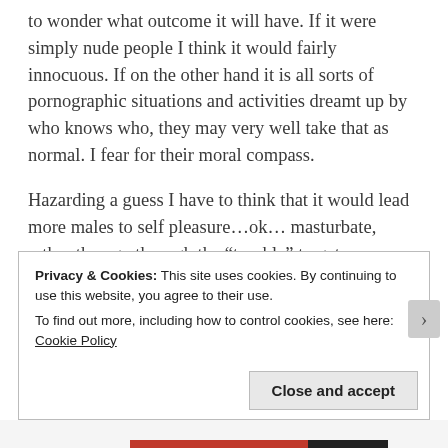to wonder what outcome it will have.  If it were simply nude people I think it would fairly innocuous. If on the other hand it is all sorts of pornographic situations and activities dreamt up by who knows who, they may very well take that as normal.  I fear for their moral compass.
Hazarding a guess I have to think that it would lead more males to self pleasure…ok… masturbate, rather than go through the “trouble” to get a girlfriend and have a “normal” relation. Pornography could have a much more serious affect on society as a whole.  I also wonder what if any affect it has on females.
Privacy & Cookies: This site uses cookies. By continuing to use this website, you agree to their use.
To find out more, including how to control cookies, see here: Cookie Policy
Close and accept